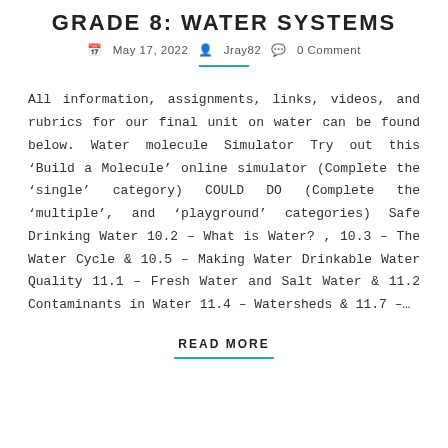GRADE 8: WATER SYSTEMS
May 17, 2022  Jray82  0 Comment
All information, assignments, links, videos, and rubrics for our final unit on water can be found below. Water molecule Simulator Try out this ‘Build a Molecule’ online simulator (Complete the ‘single’ category) COULD DO (Complete the ‘multiple’, and ‘playground’ categories) Safe Drinking Water 10.2 – What is Water? , 10.3 – The Water Cycle & 10.5 – Making Water Drinkable Water Quality 11.1 – Fresh Water and Salt Water & 11.2 Contaminants in Water 11.4 – Watersheds & 11.7 –...
READ MORE